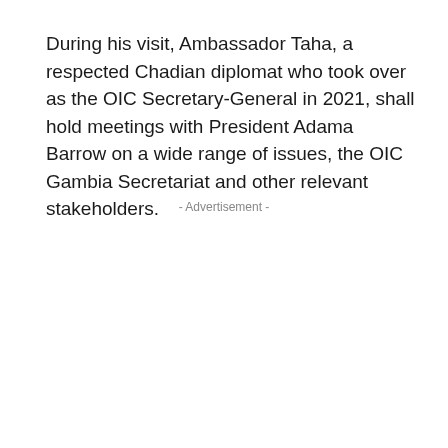During his visit, Ambassador Taha, a respected Chadian diplomat who took over as the OIC Secretary-General in 2021, shall hold meetings with President Adama Barrow on a wide range of issues, the OIC Gambia Secretariat and other relevant stakeholders.
- Advertisement -